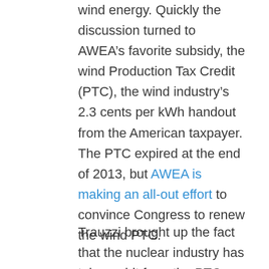wind energy. Quickly the discussion turned to AWEA's favorite subsidy, the wind Production Tax Credit (PTC), the wind industry's 2.3 cents per kWh handout from the American taxpayer. The PTC expired at the end of 2013, but AWEA is making an all-out effort to convince Congress to renew the wind PTC.
Trauzzi brought up the fact that the nuclear industry has taken a hit from the PTC and asked Gramlich if he saw the conflict escalating? Gramlich responded: